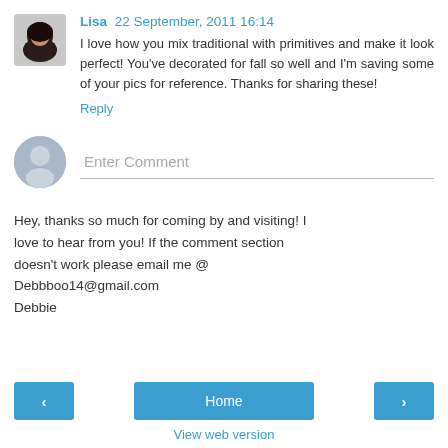Lisa 22 September, 2011 16:14 — I love how you mix traditional with primitives and make it look perfect! You've decorated for fall so well and I'm saving some of your pics for reference. Thanks for sharing these!
Reply
[Figure (other): Comment input field with placeholder text 'Enter Comment' and a generic user avatar]
Hey, thanks so much for coming by and visiting! I love to hear from you! If the comment section doesn't work please email me @ Debbboo14@gmail.com
Debbie
< Home > View web version